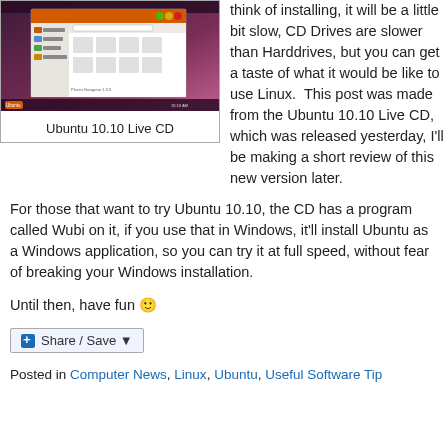[Figure (screenshot): Screenshot of Ubuntu 10.10 desktop interface showing file manager window]
Ubuntu 10.10 Live CD
think of installing, it will be a little bit slow, CD Drives are slower than Harddrives, but you can get a taste of what it would be like to use Linux.  This post was made from the Ubuntu 10.10 Live CD, which was released yesterday, I'll be making a short review of this new version later.
For those that want to try Ubuntu 10.10, the CD has a program called Wubi on it, if you use that in Windows, it'll install Ubuntu as a Windows application, so you can try it at full speed, without fear of breaking your Windows installation.
Until then, have fun 🙂
[Figure (other): Share / Save button widget]
Posted in Computer News, Linux, Ubuntu, Useful Software Tip